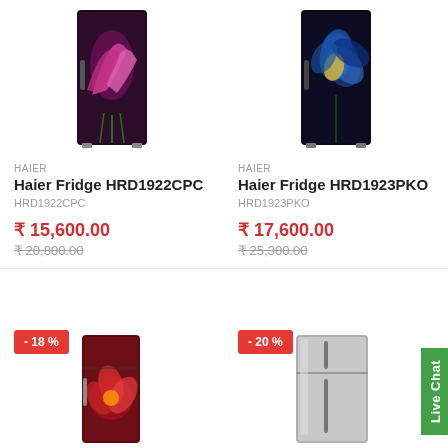[Figure (photo): Haier single-door refrigerator with pink calla lily floral design on dark background]
HAIER
Haier Fridge HRD1922CPC
HRD1922CPC
₹ 15,600.00
₹ 20,800.00
[Figure (photo): Haier single-door refrigerator with blue and yellow floral design on dark background]
HAIER
Haier Fridge HRD1923PKO
HRD1923PKO
₹ 17,600.00
₹ 25,300.00
- 18 %
[Figure (photo): Single-door refrigerator with red floral design on dark maroon background]
- 20 %
[Figure (photo): Double-door refrigerator in silver/grey finish]
Live Chat